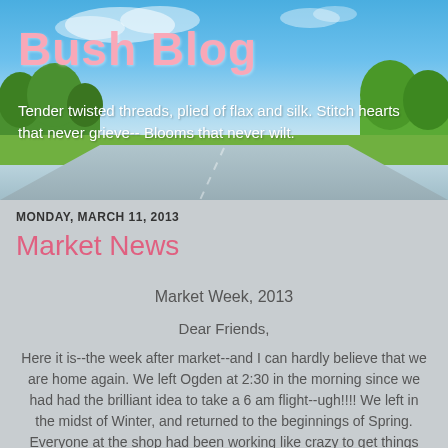[Figure (photo): Blog header banner with blue sky, white clouds, green trees, and road fading into the distance]
Bush Blog
Tender twisted threads, plied of flax and silk. Stitch hearts that never grieve-- Blooms that never wilt.
MONDAY, MARCH 11, 2013
Market News
Market Week, 2013
Dear Friends,
Here it is--the week after market--and I can hardly believe that we are home again.  We left Ogden at 2:30 in the morning since we had had the brilliant idea to take a 6 am flight--ugh!!!!  We left in the midst of Winter, and returned to the beginnings of Spring.  Everyone at the shop had been working like crazy to get things finished up, and we thought we were ready in spite of 80 yards of fabric which arrived 1